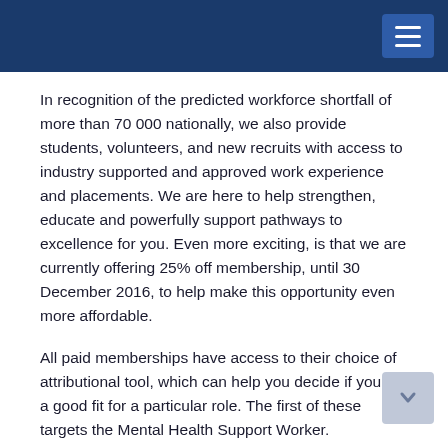continue to individually or as an organisation.
In recognition of the predicted workforce shortfall of more than 70 000 nationally, we also provide students, volunteers, and new recruits with access to industry supported and approved work experience and placements. We are here to help strengthen, educate and powerfully support pathways to excellence for you. Even more exciting, is that we are currently offering 25% off membership, until 30 December 2016, to help make this opportunity even more affordable.
All paid memberships have access to their choice of attributional tool, which can help you decide if you are a good fit for a particular role. The first of these targets the Mental Health Support Worker.
Viewable here if you are new to the sector, and interested in this role, or if you are an industry body seeking to recruit staff of excellence to this role, then this is the resource for you.
Our Attributional Tool is industry developed, informed by